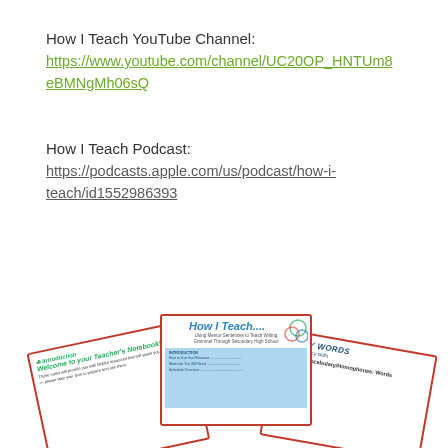How I Teach YouTube Channel:
https://www.youtube.com/channel/UC20OP_HNTUm8eBMNgMh06sQ
How I Teach Podcast:
https://podcasts.apple.com/us/podcast/how-i-teach/id1552986393
[Figure (illustration): Fan of educational worksheet/workbook cards. Center card shows 'How I Teach....' title in blue italic with decorative circles. Left card shows 'Introduction' with 'Welcome to your Teacher's Notebook!' text. Right card shows 'WACKY WORDS' and 'Lesson 0: Vocabulary/Homophones: Words'.]